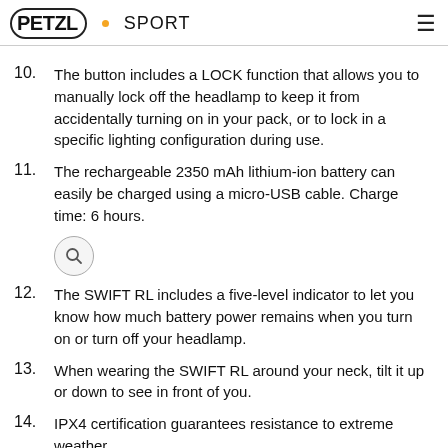PETZL • SPORT
10. The button includes a LOCK function that allows you to manually lock off the headlamp to keep it from accidentally turning on in your pack, or to lock in a specific lighting configuration during use.
11. The rechargeable 2350 mAh lithium-ion battery can easily be charged using a micro-USB cable. Charge time: 6 hours.
[Figure (illustration): Search magnifying glass icon inside a light grey circle]
12. The SWIFT RL includes a five-level indicator to let you know how much battery power remains when you turn on or turn off your headlamp.
13. When wearing the SWIFT RL around your neck, tilt it up or down to see in front of you.
14. IPX4 certification guarantees resistance to extreme weather.